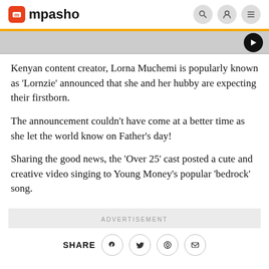mpasho
[Figure (screenshot): Partial image strip with play button, yellow top bar, gray background]
Kenyan content creator, Lorna Muchemi is popularly known as 'Lornzie' announced that she and her hubby are expecting their firstborn.
The announcement couldn't have come at a better time as she let the world know on Father's day!
Sharing the good news, the 'Over 25' cast posted a cute and creative video singing to Young Money's popular 'bedrock' song.
ADVERTISEMENT
SHARE